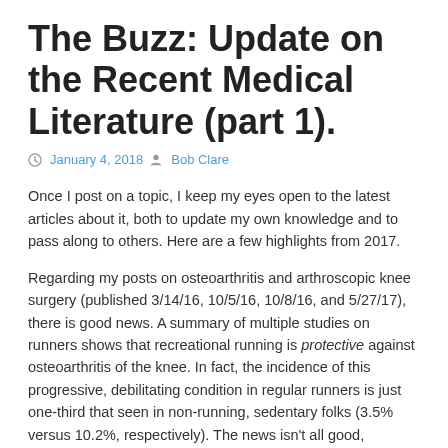The Buzz: Update on the Recent Medical Literature (part 1).
January 4, 2018  Bob Clare
Once I post on a topic, I keep my eyes open to the latest articles about it, both to update my own knowledge and to pass along to others. Here are a few highlights from 2017.
Regarding my posts on osteoarthritis and arthroscopic knee surgery (published 3/14/16, 10/5/16, 10/8/16, and 5/27/17), there is good news. A summary of multiple studies on runners shows that recreational running is protective against osteoarthritis of the knee. In fact, the incidence of this progressive, debilitating condition in regular runners is just one-third that seen in non-running, sedentary folks (3.5% versus 10.2%, respectively). The news isn't all good, however: In competitive runners who log lots of miles, the incidence of knee osteoarthritis is actually